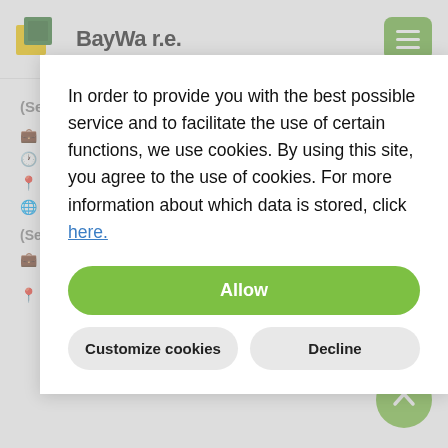BayWa r.e.
(Senior) HSE Manager (m/f/d)
Project Development, Quality Management
Professional experience
Berlin, Freiburg, Leipzig, München
Germany
(Senior) People Development Manager (f/m/d)
HR
München
In order to provide you with the best possible service and to facilitate the use of certain functions, we use cookies. By using this site, you agree to the use of cookies. For more information about which data is stored, click here.
Allow
Customize cookies
Decline